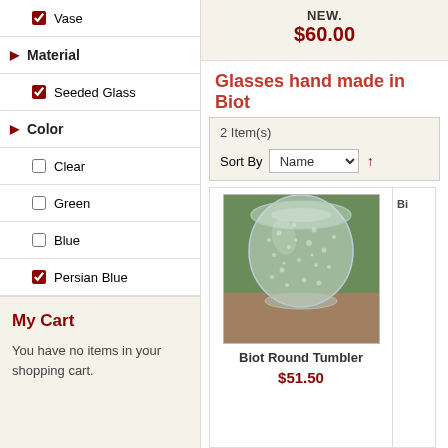☑ Vase
▶ Material
☑ Seeded Glass
▶ Color
☐ Clear
☐ Green
☐ Blue
☑ Persian Blue
My Cart
You have no items in your shopping cart.
NEW.
$60.00
Glasses hand made in Biot
2 Item(s)
Sort By Name ↑
[Figure (photo): Clear seeded glass round tumbler on wooden surface with green background]
Biot Round Tumbler
$51.50